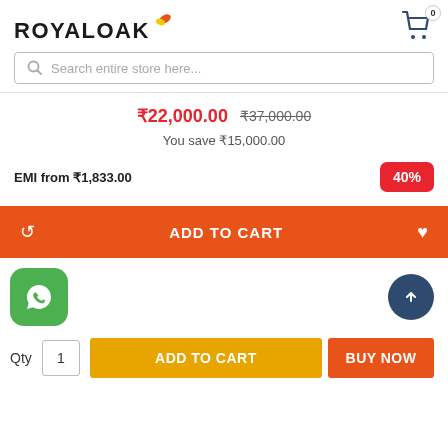[Figure (logo): Royaloak logo with leaf graphic in orange and yellow]
[Figure (other): Shopping cart icon with badge showing 0]
Search entire store here...
₹22,000.00  ₹37,000.00
You save ₹15,000.00
EMI from ₹1,833.00
40%
ADD TO CART
[Figure (other): WhatsApp icon button (green rounded square)]
[Figure (other): Scroll to top button (dark blue circle with up arrow)]
Qty  1  ADD TO CART  BUY NOW